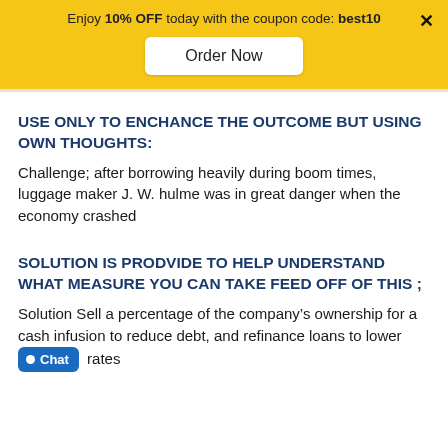Enjoy 10% OFF today with the coupon code: best10
USE ONLY TO ENCHANCE THE OUTCOME BUT USING OWN THOUGHTS:
Challenge; after borrowing heavily during boom times, luggage maker J. W. hulme was in great danger when the economy crashed
SOLUTION IS PRODVIDE TO HELP UNDERSTAND WHAT MEASURE YOU CAN TAKE FEED OFF OF THIS ;
Solution Sell a percentage of the company's ownership for a cash infusion to reduce debt, and refinance loans to lower rates